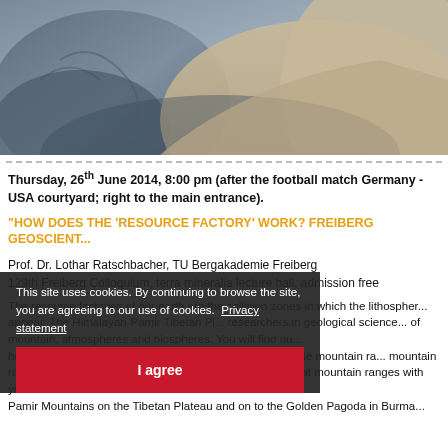[Figure (photo): Close-up photo of a person in a beige/tan jacket, partial view, muted blue and brown tones in background]
Thursday, 26th June 2014, 8:00 pm (after the football match Germany - USA courtyard; right to the main entrance).
"HOW DOES THE 'RESOURCE FACTORY' WORK? FREIBERG GEOSCIENT...
Prof. Dr. Lothar Ratschbacher, TU Bergakademie Freiberg
129th Freiberg Colloquium, terra mineralia lecture hall, admission free
The resource factories of our earth are the collision zones in which the lithospher... The Himalayan-Pamir Tibetan Pl... researchers in geological science... of mountain, atmospheres and biospheres. You will find ou... how changes the shape of the earth, special climates cause mountain ra... mountain ranges and how high m... course, we will also take a look at mountain ranges with you: From Hindu Kush i... Pamir Mountains on the Tibetan Plateau and on to the Golden Pagoda in Burma...
This site uses cookies. By continuing to browse the site, you are agreeing to our use of cookies. Privacy statement
I agree